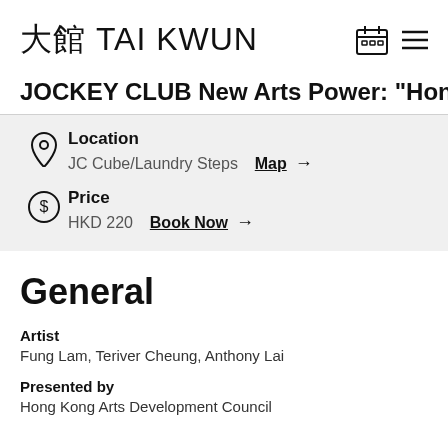大館 TAI KWUN
JOCKEY CLUB New Arts Power: "Hong K
Location
JC Cube/Laundry Steps  Map →
Price
HKD 220  Book Now →
General
Artist
Fung Lam, Teriver Cheung, Anthony Lai
Presented by
Hong Kong Arts Development Council